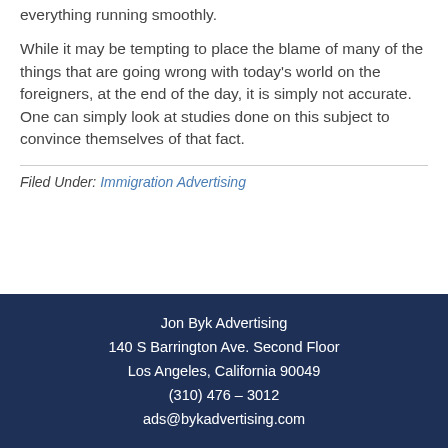everything running smoothly.
While it may be tempting to place the blame of many of the things that are going wrong with today's world on the foreigners, at the end of the day, it is simply not accurate. One can simply look at studies done on this subject to convince themselves of that fact.
Filed Under: Immigration Advertising
Jon Byk Advertising
140 S Barrington Ave. Second Floor
Los Angeles, California 90049
(310) 476 – 3012
ads@bykadvertising.com